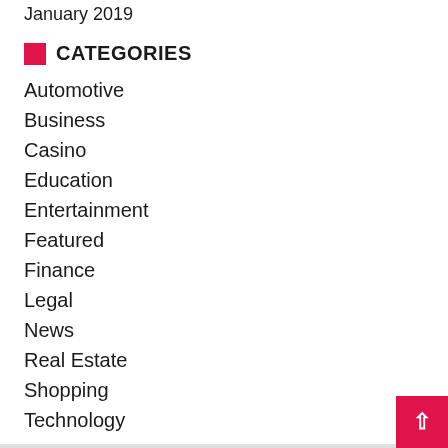January 2019
CATEGORIES
Automotive
Business
Casino
Education
Entertainment
Featured
Finance
Legal
News
Real Estate
Shopping
Technology